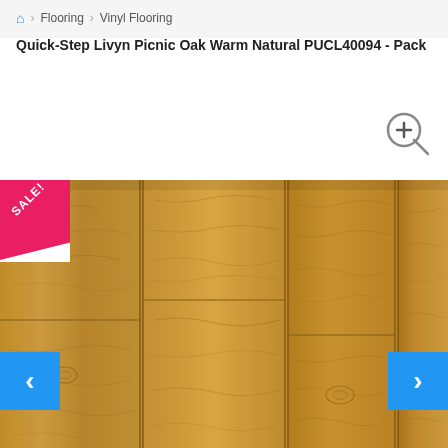🏠 Flooring Vinyl Flooring
Quick-Step Livyn Picnic Oak Warm Natural PUCL40094 - Pack
[Figure (photo): Product photo of Quick-Step Livyn Picnic Oak Warm Natural vinyl flooring planks showing wood grain texture in warm honey/amber tones. A red SALE! ribbon badge appears in the top-left corner. Navigation arrows (< and >) appear on the left and right sides.]